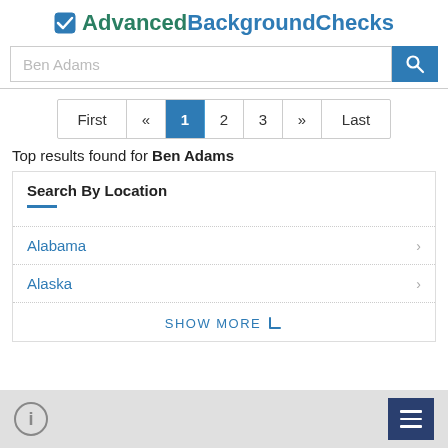AdvancedBackgroundChecks
[Figure (screenshot): Search input box with placeholder 'Ben Adams' and blue search button with magnifying glass icon]
First « 1 2 3 » Last
Top results found for Ben Adams
Search By Location
Alabama
Alaska
SHOW MORE